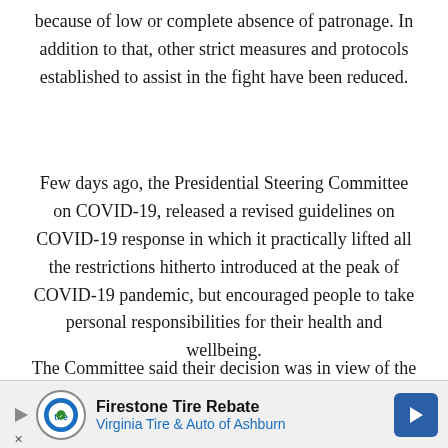because of low or complete absence of patronage. In addition to that, other strict measures and protocols established to assist in the fight have been reduced.
Few days ago, the Presidential Steering Committee on COVID-19, released a revised guidelines on COVID-19 response in which it practically lifted all the restrictions hitherto introduced at the peak of COVID-19 pandemic, but encouraged people to take personal responsibilities for their health and wellbeing.
The Committee said their decision was in view of the declining number of COVID-19 confirmed cases, reduced risk of importation of new
[Figure (infographic): Advertisement banner for Firestone Tire Rebate — Virginia Tire & Auto of Ashburn, with logo, play button, close button, and navigation arrow.]